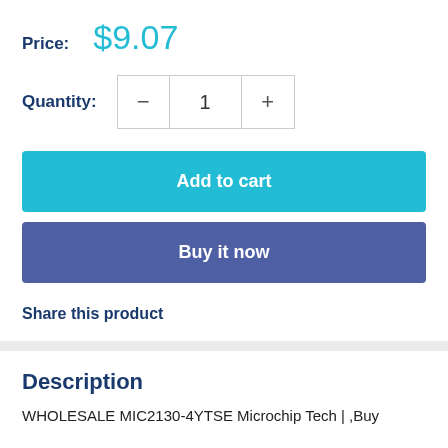Price: $9.07
Quantity: 1
Add to cart
Buy it now
Share this product
Description
WHOLESALE MIC2130-4YTSE Microchip Tech | ,Buy